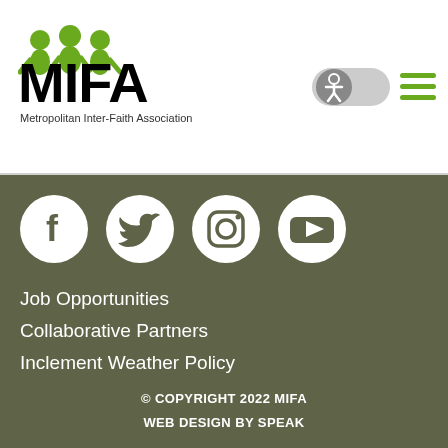[Figure (logo): MIFA (Metropolitan Inter-Faith Association) logo with green figure icon and bold black MIFA text]
[Figure (other): Accessibility toggle button and hamburger menu icon in header]
[Figure (other): Social media icons: Facebook, Twitter, Instagram, YouTube — white circles on dark olive background]
Job Opportunities
Collaborative Partners
Inclement Weather Policy
© COPYRIGHT 2022 MIFA
WEB DESIGN BY SPEAK